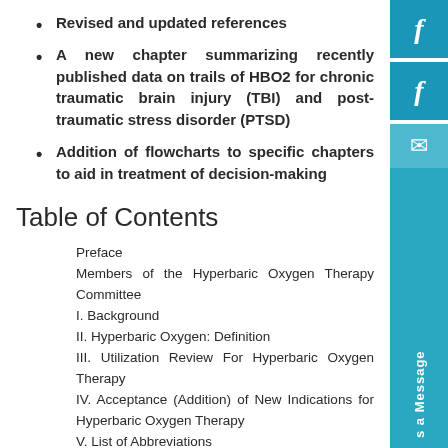Revised and updated references
A new chapter summarizing recently published data on trails of HBO2 for chronic traumatic brain injury (TBI) and post-traumatic stress disorder (PTSD)
Addition of flowcharts to specific chapters to aid in treatment of decision-making
Table of Contents
Preface
Members of the Hyperbaric Oxygen Therapy Committee
I. Background
II. Hyperbaric Oxygen: Definition
III. Utilization Review For Hyperbaric Oxygen Therapy
IV. Acceptance (Addition) of New Indications for Hyperbaric Oxygen Therapy
V. List of Abbreviations
VI. Author Biographies